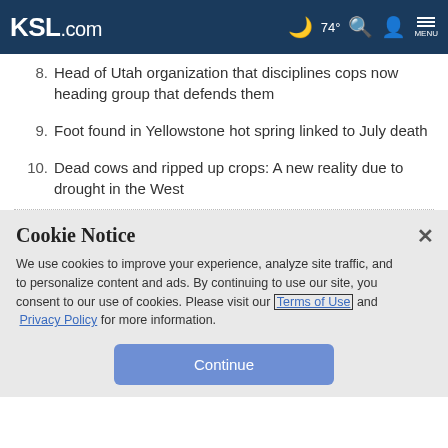KSL.com  74°  MENU
8. Head of Utah organization that disciplines cops now heading group that defends them
9. Foot found in Yellowstone hot spring linked to July death
10. Dead cows and ripped up crops: A new reality due to drought in the West
Cookie Notice
We use cookies to improve your experience, analyze site traffic, and to personalize content and ads. By continuing to use our site, you consent to our use of cookies. Please visit our Terms of Use and Privacy Policy for more information.
Continue